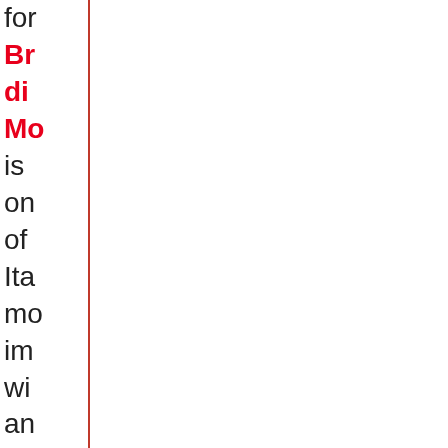for Br di Mo is on of Ita mo im wi an thi be fro the far To far